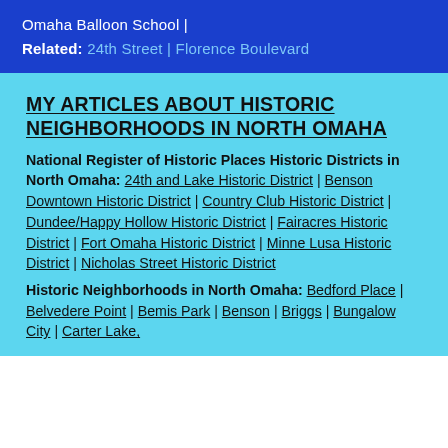Omaha Balloon School |
Related: 24th Street | Florence Boulevard
MY ARTICLES ABOUT HISTORIC NEIGHBORHOODS IN NORTH OMAHA
National Register of Historic Places Historic Districts in North Omaha: 24th and Lake Historic District | Benson Downtown Historic District | Country Club Historic District | Dundee/Happy Hollow Historic District | Fairacres Historic District | Fort Omaha Historic District | Minne Lusa Historic District | Nicholas Street Historic District
Historic Neighborhoods in North Omaha: Bedford Place | Belvedere Point | Bemis Park | Benson | Briggs | Bungalow City | Carter Lake,